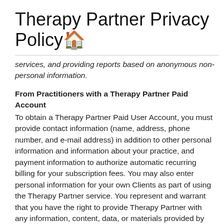Therapy Partner Privacy Policy
services, and providing reports based on anonymous non-personal information.
From Practitioners with a Therapy Partner Paid Account
To obtain a Therapy Partner Paid User Account, you must provide contact information (name, address, phone number, and e-mail address) in addition to other personal information and information about your practice, and payment information to authorize automatic recurring billing for your subscription fees. You may also enter personal information for your own Clients as part of using the Therapy Partner service. You represent and warrant that you have the right to provide Therapy Partner with any information, content, data, or materials provided by you, and that the disclosure does not violate the PCI DSS, HIPAA, or any other law or regulation.
We use your personal information to administer your account, to send you messages related to your usage of the Services, and to send you information about our company and your